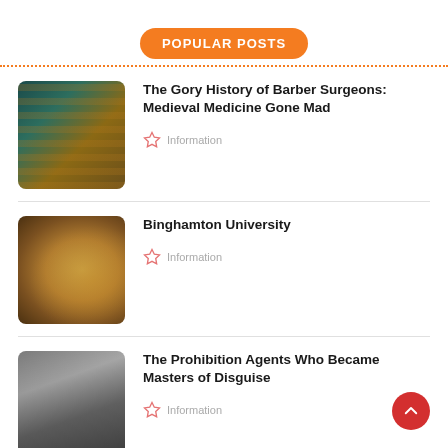POPULAR POSTS
The Gory History of Barber Surgeons: Medieval Medicine Gone Mad — Information
Binghamton University — Information
The Prohibition Agents Who Became Masters of Disguise — Information